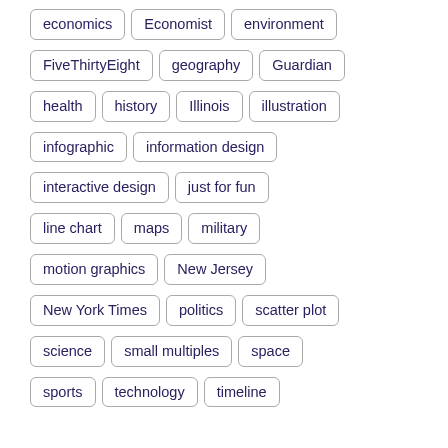economics
Economist
environment
FiveThirtyEight
geography
Guardian
health
history
Illinois
illustration
infographic
information design
interactive design
just for fun
line chart
maps
military
motion graphics
New Jersey
New York Times
politics
scatter plot
science
small multiples
space
sports
technology
timeline